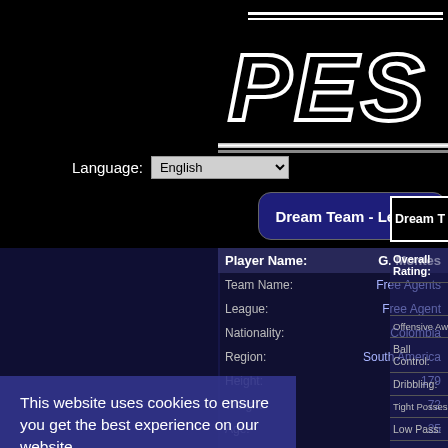[Figure (screenshot): PES Database website screenshot showing a player profile for G. Montes with language selector, Dream Team Level 1 banner, player stats table, and a cookie consent overlay with Got it button.]
Language:
English
Dream Team - Level 1
| Player Name: | G. Montes | Overall Rating: |
| --- | --- | --- |
| Team Name: | Free Agents |  |
| League: | Free Agent | Offensive Awareness: |
| Nationality: | Colombia | Ball Control: |
| Region: | South America | Dribbling: |
| Height: | 179 | Tight Possession: |
| Weight: | 72 | Low Pass: |
| Age: | 25 | Lofted Pass: |
| Stronger Foot: | Right foot | Finishing: |
| Maximum Level: | 1 | Heading: |
This website uses cookies to ensure you get the best experience on our website.
Learn more
Got it!